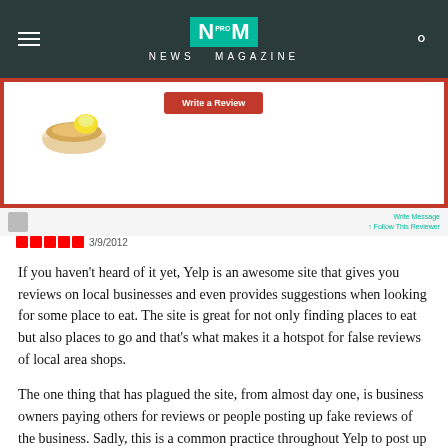NEWS MAGAZINE
[Figure (screenshot): Screenshot of a Yelp business review page with a food image and a red button visible, framed in red border]
Follow This Reviewer
3/9/2012
If you haven't heard of it yet, Yelp is an awesome site that gives you reviews on local businesses and even provides suggestions when looking for some place to eat. The site is great for not only finding places to eat but also places to go and that's what makes it a hotspot for false reviews of local area shops.
The one thing that has plagued the site, from almost day one, is business owners paying others for reviews or people posting up fake reviews of the business. Sadly, this is a common practice throughout Yelp to post up fake and paid reviews. This is most commonly done to artificially boost the rating of the business to potentially get more clients and traffic. On the other hand, if a